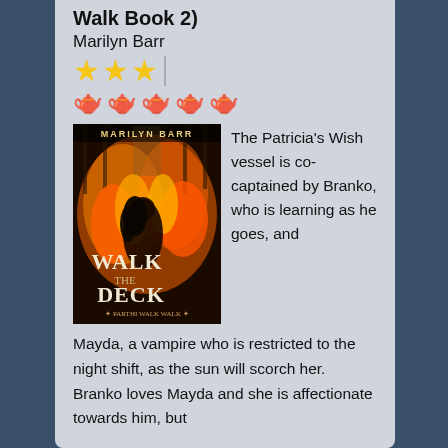Walk Book 2)
Marilyn Barr
★★★ (3 stars)
🫖🫖🫖🫖🫖 (5 teapots)
[Figure (photo): Book cover of 'Walk the Deck' by Marilyn Barr, showing a woman with dark hair surrounded by fire inside a grand hall, with the title 'Walk the Deck' in stylized text]
The Patricia's Wish vessel is co-captained by Branko, who is learning as he goes, and Mayda, a vampire who is restricted to the night shift, as the sun will scorch her. Branko loves Mayda and she is affectionate towards him, but